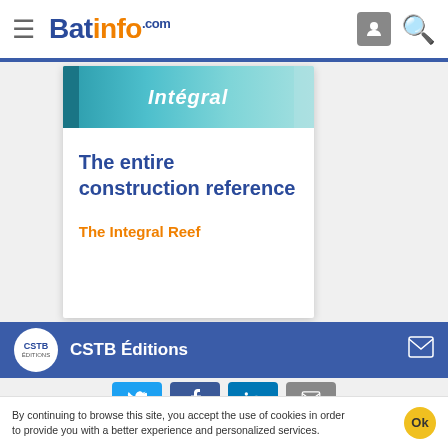Batinfo.com
[Figure (screenshot): Top portion of a book cover for 'The Integral Reef' with teal/cyan background and italic text 'Intégral']
The entire construction reference
The Integral Reef
CSTB Éditions
By continuing to browse this site, you accept the use of cookies in order to provide you with a better experience and personalized services.